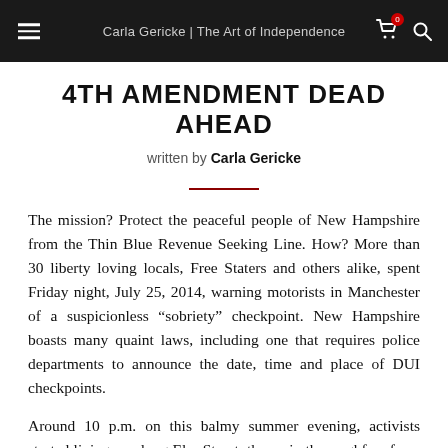Carla Gericke | The Art of Independence
4TH AMENDMENT DEAD AHEAD
written by Carla Gericke
The mission? Protect the peaceful people of New Hampshire from the Thin Blue Revenue Seeking Line. How? More than 30 liberty loving locals, Free Staters and others alike, spent Friday night, July 25, 2014, warning motorists in Manchester of a suspicionless “sobriety” checkpoint. New Hampshire boasts many quaint laws, including one that requires police departments to announce the date, time and place of DUI checkpoints.
Around 10 p.m. on this balmy summer evening, activists started lining up along Elm Street, the main thoroughfare from downtown. From our vantage point, the single-